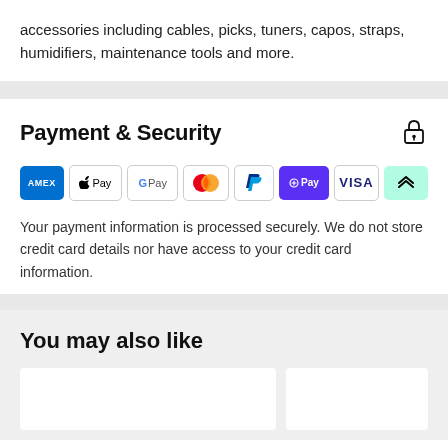accessories including cables, picks, tuners, capos, straps, humidifiers, maintenance tools and more.
Payment & Security
[Figure (infographic): Payment method icons: American Express, Apple Pay, Google Pay, Mastercard, PayPal, Shop Pay, Visa, AfterPay]
Your payment information is processed securely. We do not store credit card details nor have access to your credit card information.
You may also like